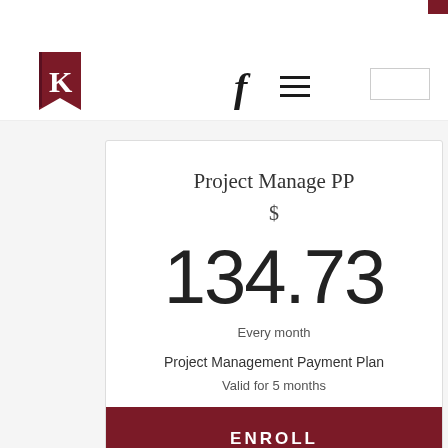K logo, Facebook icon, hamburger menu
Project Manage PP
$
134.73
Every month
Project Management Payment Plan
Valid for 5 months
ENROLL